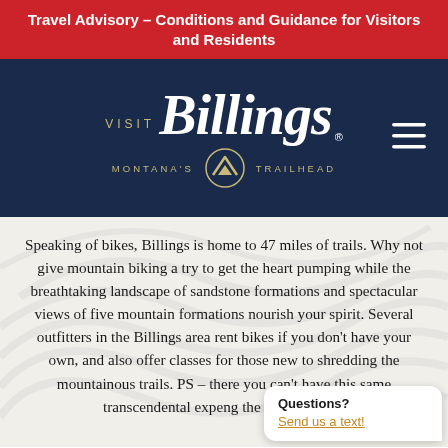Travel Advisory – Conditions and Guidance for Visitors and Residents
[Figure (logo): Visit Billings logo with 'Montana's Trailhead' tagline on dark navy background with hamburger menu icon]
Speaking of bikes, Billings is home to 47 miles of trails. Why not give mountain biking a try to get the heart pumping while the breathtaking landscape of sandstone formations and spectacular views of five mountain formations nourish your spirit. Several outfitters in the Billings area rent bikes if you don't have your own, and also offer classes for those new to shredding the mountainous trails. PS – there' you can't have this same transcendental expe ng the trails as well.